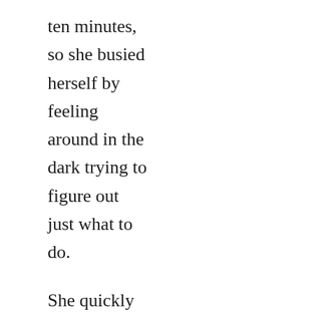ten minutes, so she busied herself by feeling around in the dark trying to figure out just what to do.

She quickly found a bundle of wires that would end